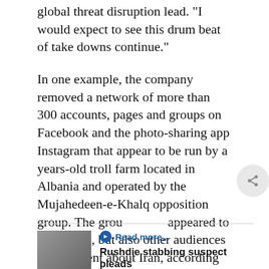global threat disruption lead. "I would expect to see this drum beat of take downs continue."
In one example, the company removed a network of more than 300 accounts, pages and groups on Facebook and the photo-sharing app Instagram that appear to be run by a years-old troll farm located in Albania and operated by the Mujahedeen-e-Khalq opposition group. The group appeared to target Iran, but also other audiences with content about Iran, according to a report released by Facebook.
[Figure (photo): Thumbnail photo of a person wearing a mask]
Read more...
Rushdie stabbing suspect pleads